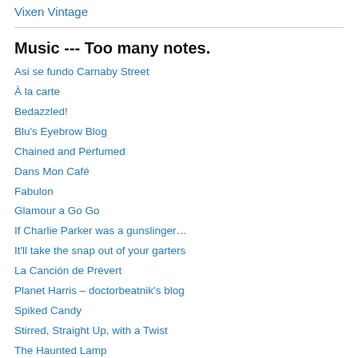Vixen Vintage
Music --- Too many notes.
Asi se fundo Carnaby Street
À la carte
Bedazzled!
Blu's Eyebrow Blog
Chained and Perfumed
Dans Mon Café
Fabulon
Glamour a Go Go
If Charlie Parker was a gunslinger…
It'll take the snap out of your garters
La Canción de Prévert
Planet Harris – doctorbeatnik's blog
Spiked Candy
Stirred, Straight Up, with a Twist
The Haunted Lamp
The Soundtrack of My Life